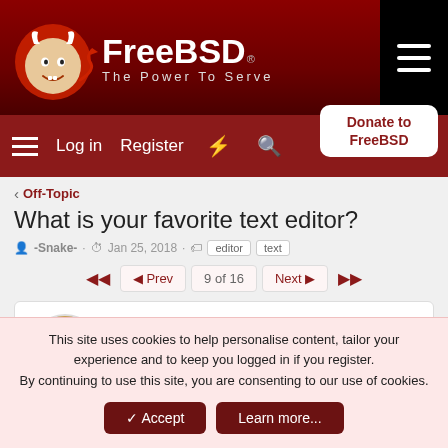[Figure (logo): FreeBSD logo with devil mascot and tagline 'The Power To Serve']
Log in  Register
Donate to FreeBSD
< Off-Topic
What is your favorite text editor?
-Snake- · Jan 25, 2018 · editor text
◄◄  ◄ Prev  9 of 16  Next ►  ►►
Geezer
Sep 25, 2021  #201
This site uses cookies to help personalise content, tailor your experience and to keep you logged in if you register.
By continuing to use this site, you are consenting to our use of cookies.
✓ Accept  Learn more...